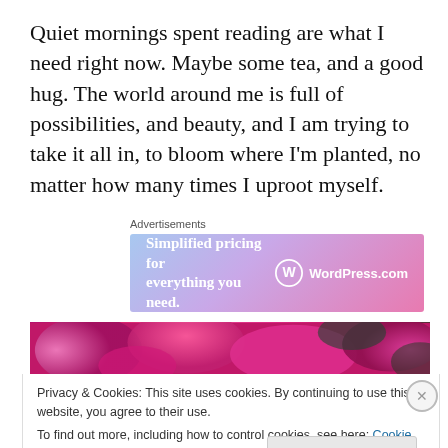Quiet mornings spent reading are what I need right now. Maybe some tea, and a good hug. The world around me is full of possibilities, and beauty, and I am trying to take it all in, to bloom where I'm planted, no matter how many times I uproot myself.
Advertisements
[Figure (other): WordPress.com advertisement banner with gradient blue-purple-pink background, text 'Simplified pricing for everything you need.' and WordPress.com logo]
[Figure (photo): Close-up photo of bright pink/magenta flowers (roses or similar)]
Privacy & Cookies: This site uses cookies. By continuing to use this website, you agree to their use.
To find out more, including how to control cookies, see here: Cookie Policy